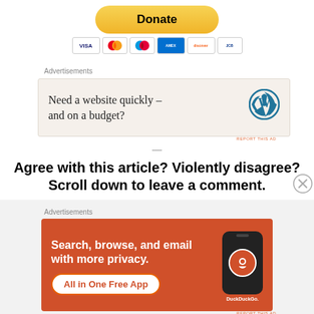[Figure (other): Donate button with PayPal-style yellow rounded button and payment card icons below (Visa, Mastercard, and others)]
Advertisements
[Figure (other): WordPress advertisement: 'Need a website quickly – and on a budget?' with WordPress logo on beige background]
REPORT THIS AD
—
Agree with this article? Violently disagree? Scroll down to leave a comment.
Advertisements
[Figure (other): DuckDuckGo advertisement on orange background: 'Search, browse, and email with more privacy. All in One Free App' with phone graphic showing DuckDuckGo logo]